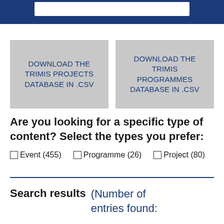[Figure (screenshot): Dark blue header bar with a white search input box]
DOWNLOAD THE TRIMIS PROJECTS DATABASE IN .CSV
DOWNLOAD THE TRIMIS PROGRAMMES DATABASE IN .CSV
Are you looking for a specific type of content? Select the types you prefer:
Event (455)
Programme (26)
Project (80)
Search results (Number of entries found: